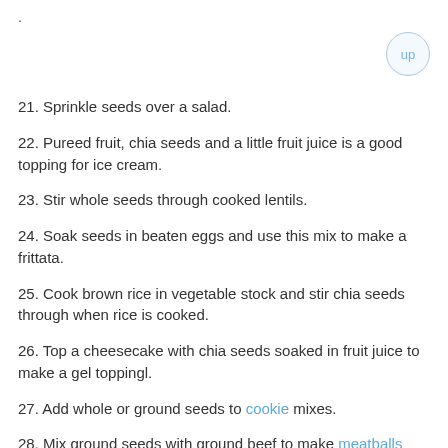.
21. Sprinkle seeds over a salad.
22. Pureed fruit, chia seeds and a little fruit juice is a good topping for ice cream.
23. Stir whole seeds through cooked lentils.
24. Soak seeds in beaten eggs and use this mix to make a frittata.
25. Cook brown rice in vegetable stock and stir chia seeds through when rice is cooked.
26. Top a cheesecake with chia seeds soaked in fruit juice to make a gel toppingl.
27. Add whole or ground seeds to cookie mixes.
28. Mix ground seeds with ground beef to make meatballs
29. Cook brown rice in apple juice, add grated apple and stir whole chia seeds through the mixture for a tasty